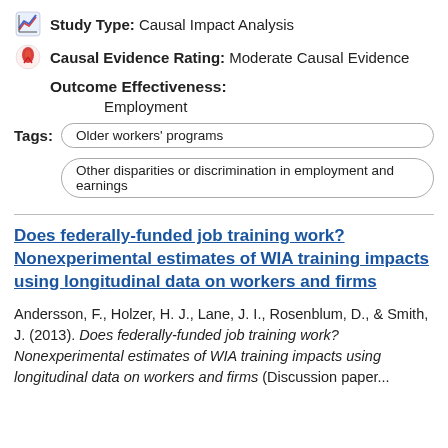Study Type: Causal Impact Analysis
Causal Evidence Rating: Moderate Causal Evidence
Outcome Effectiveness:
Employment
Tags: Older workers' programs | Other disparities or discrimination in employment and earnings
Does federally-funded job training work? Nonexperimental estimates of WIA training impacts using longitudinal data on workers and firms
Andersson, F., Holzer, H. J., Lane, J. I., Rosenblum, D., & Smith, J. (2013). Does federally-funded job training work? Nonexperimental estimates of WIA training impacts using longitudinal data on workers and firms (Discussion paper...